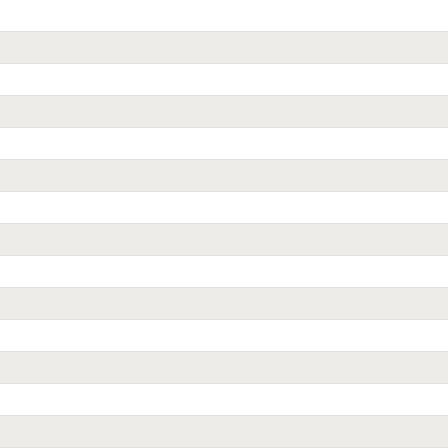.asti.it
.kr.it
.friulivegiulia.it
.go.it
.pmn.it
.mi.it
.pesarourbino.it
.marche.it
.re.it
.lc.it
.caltanissetta.it
.cuneo.it
.fi.it
.basilicata.it
.ce.it